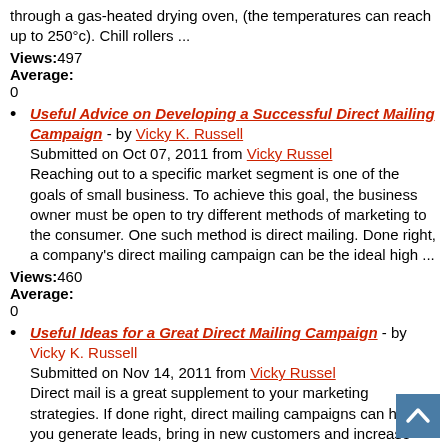through a gas-heated drying oven, (the temperatures can reach up to 250°c). Chill rollers ...
Views:497
Average:
0
Useful Advice on Developing a Successful Direct Mailing Campaign - by Vicky K. Russell
Submitted on Oct 07, 2011 from Vicky Russel
Reaching out to a specific market segment is one of the goals of small business. To achieve this goal, the business owner must be open to try different methods of marketing to the consumer. One such method is direct mailing. Done right, a company's direct mailing campaign can be the ideal high ...
Views:460
Average:
0
Useful Ideas for a Great Direct Mailing Campaign - by Vicky K. Russell
Submitted on Nov 14, 2011 from Vicky Russel
Direct mail is a great supplement to your marketing strategies. If done right, direct mailing campaigns can help you generate leads, bring in new customers and increase your income. To get your direct mailing engines up and running, here are some pointers that you may want to ...
Views:589
Average:
0
Your Choice of the Best Printed Marketing Materials - by ...